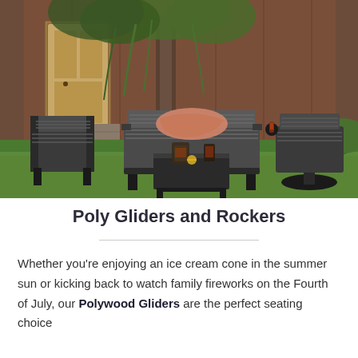[Figure (photo): Outdoor patio scene featuring dark gray/black poly furniture including gliders, chairs, and a coffee table arranged on a green lawn. A pitcher of iced tea and drinks sit on the table. A large tree and a brown building with a yellow door are visible in the background. An orange/pink throw blanket is draped over one of the gliders.]
Poly Gliders and Rockers
Whether you’re enjoying an ice cream cone in the summer sun or kicking back to watch family fireworks on the Fourth of July, our Polywood Gliders are the perfect seating choice